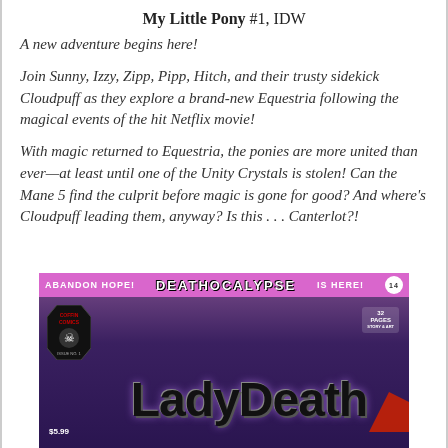My Little Pony #1, IDW
A new adventure begins here!
Join Sunny, Izzy, Zipp, Pipp, Hitch, and their trusty sidekick Cloudpuff as they explore a brand-new Equestria following the magical events of the hit Netflix movie!
With magic returned to Equestria, the ponies are more united than ever—at least until one of the Unity Crystals is stolen! Can the Mane 5 find the culprit before magic is gone for good? And where's Cloudpuff leading them, anyway? Is this . . . Canterlot?!
[Figure (illustration): Comic book cover for Lady Death: Deathocalypse #14 by Coffin Comics. Purple and black cover showing the Lady Death logo in large gothic lettering. Banner reads 'ABANDON HOPE! DEATHOCALYPSE IS HERE!' with issue number 14. Coffin Comics logo with skull on left, price $5.99, 32 pages noted on right. A red arrow/chevron visible in bottom right corner.]